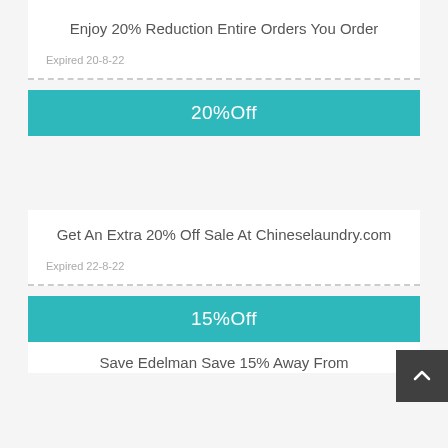Enjoy 20% Reduction Entire Orders You Order
Expired 20-8-22
20%Off
Get An Extra 20% Off Sale At Chineselaundry.com
Expired 22-8-22
15%Off
Save Edelman Save 15% Away From